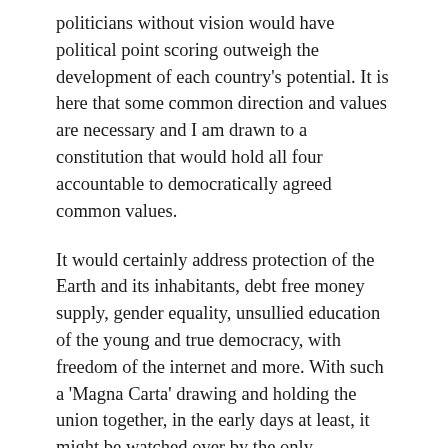politicians without vision would have political point scoring outweigh the development of each country's potential. It is here that some common direction and values are necessary and I am drawn to a constitution that would hold all four accountable to democratically agreed common values.
It would certainly address protection of the Earth and its inhabitants, debt free money supply, gender equality, unsullied education of the young and true democracy, with freedom of the internet and more. With such a 'Magna Carta' drawing and holding the union together, in the early days at least, it might be watched over by the only institution that has solely focussed upon our national values and has no political or corporate affiliations . . . Our present monarchy.
I know this could be a bone of contention for some but think about it. Our royal family has a unique background in simply caring about this country and its people through a true understanding and experience of ALL the four components